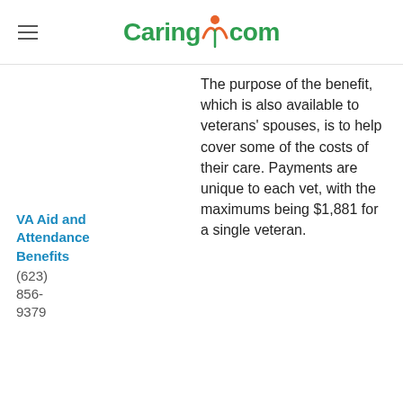Caring.com
VA Aid and Attendance Benefits
(623) 856-9379
The purpose of the benefit, which is also available to veterans' spouses, is to help cover some of the costs of their care. Payments are unique to each vet, with the maximums being $1,881 for a single veteran.